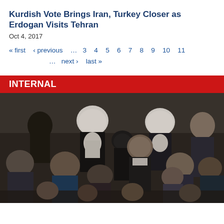Kurdish Vote Brings Iran, Turkey Closer as Erdogan Visits Tehran
Oct 4, 2017
« first  ‹ previous  …  3  4  5  6  7  8  9  10  11  …  next ›  last »
INTERNAL
[Figure (photo): Group of men in formal attire and religious dress, including clerics wearing white turbans, gathered in what appears to be an official or parliamentary setting.]